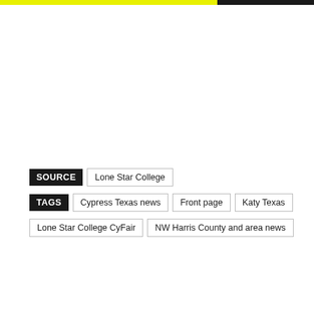SOURCE: Lone Star College
TAGS: Cypress Texas news | Front page | Katy Texas | Lone Star College CyFair | NW Harris County and area news